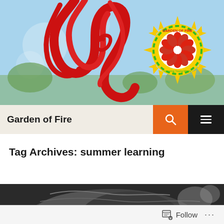[Figure (photo): Colorful red ribbon/sculpture art installation against a blue sky background with trees, and a circular 'Garden of Fire' logo (sun design with flowers) in the upper right.]
Garden of Fire
Tag Archives: summer learning
[Figure (photo): Black and white photo strip showing the top of a child's head with blurred floral background.]
Follow